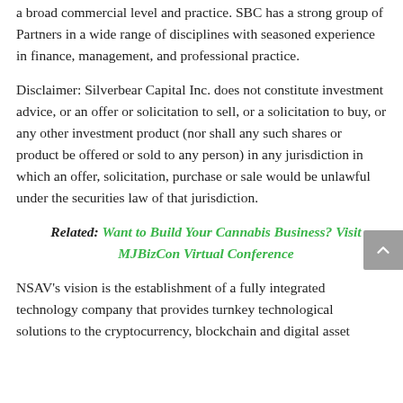a broad commercial level and practice. SBC has a strong group of Partners in a wide range of disciplines with seasoned experience in finance, management, and professional practice.
Disclaimer: Silverbear Capital Inc. does not constitute investment advice, or an offer or solicitation to sell, or a solicitation to buy, or any other investment product (nor shall any such shares or product be offered or sold to any person) in any jurisdiction in which an offer, solicitation, purchase or sale would be unlawful under the securities law of that jurisdiction.
Related: Want to Build Your Cannabis Business? Visit MJBizCon Virtual Conference
NSAV's vision is the establishment of a fully integrated technology company that provides turnkey technological solutions to the cryptocurrency, blockchain and digital asset